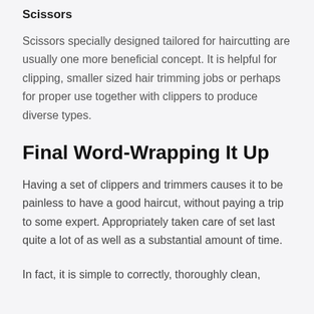Scissors
Scissors specially designed tailored for haircutting are usually one more beneficial concept. It is helpful for clipping, smaller sized hair trimming jobs or perhaps for proper use together with clippers to produce diverse types.
Final Word-Wrapping It Up
Having a set of clippers and trimmers causes it to be painless to have a good haircut, without paying a trip to some expert. Appropriately taken care of set last quite a lot of as well as a substantial amount of time.
In fact, it is simple to correctly, thoroughly clean,